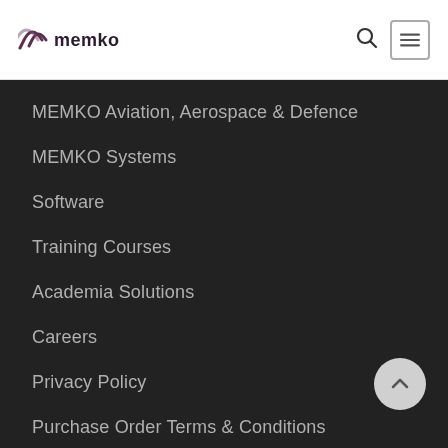memko
MEMKO Aviation, Aerospace & Defence
MEMKO Systems
Software
Training Courses
Academia Solutions
Careers
Privacy Policy
Purchase Order Terms & Conditions